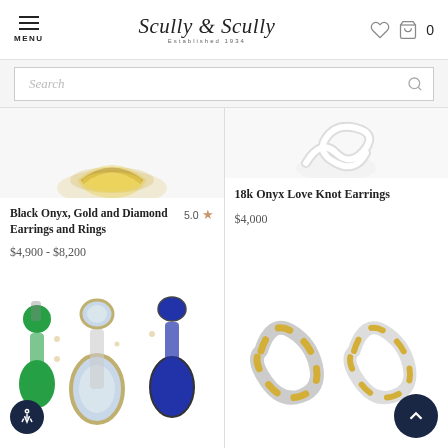MENU | Scully & Scully Established 1934 | [heart icon] [bag icon] 0
Search
[Figure (photo): Partial view of gold jewelry piece (top cropped), product card for Black Onyx, Gold and Diamond Earrings and Rings]
Black Onyx, Gold and Diamond Earrings and Rings  5.0 ★
$4,900 - $8,200
[Figure (photo): Product card for 18k Onyx Love Knot Earrings — white knot earrings image cropped, price $4,000]
18k Onyx Love Knot Earrings
$4,000
[Figure (photo): Three pairs of drop earrings — green emerald, moonstone, and blue lapis — in gold with diamond accents]
[Figure (photo): Two love-knot earrings in white ceramic and gold metal]